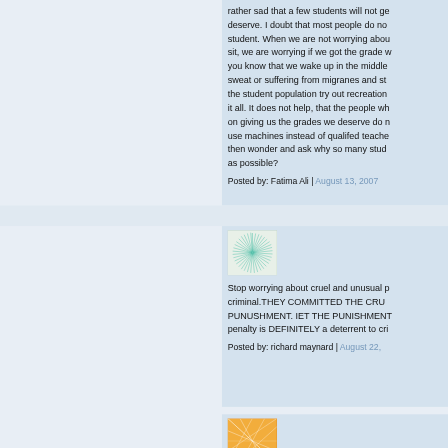rather sad that a few students will not ge deserve. I doubt that most people do no student. When we are not worrying abou sit, we are worrying if we got the grade w you know that we wake up in the middle sweat or suffering from migranes and st the student population try out recreation it all. It does not help, that the people wh on giving us the grades we deserve do n use machines instead of qualifed teache then wonder and ask why so many stude as possible?
Posted by: Fatima Ali | August 13, 2007
[Figure (illustration): Square avatar image with teal/green abstract burst or radial pattern on white/cream background]
Stop worrying about cruel and unusual p criminal.THEY COMMITTED THE CRU PUNUSHMENT. IET THE PUNISHMENT penalty is DEFINITELY a deterrent to cri
Posted by: richard maynard | August 22,
[Figure (illustration): Square avatar image with orange/yellow abstract geometric pattern on white background]